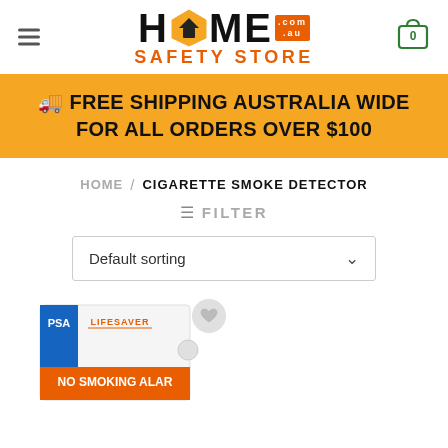HOME SAFETY STORE .com.au — navigation header with hamburger menu and cart icon
🚚 FREE SHIPPING AUSTRALIA WIDE FOR ALL ORDERS OVER $100
HOME / CIGARETTE SMOKE DETECTOR
☰ FILTER
Default sorting
[Figure (photo): PSA Lifesaver No Smoking Alarm product box, white box with orange and blue branding]